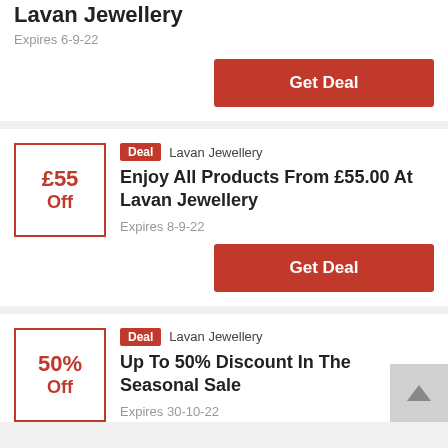Lavan Jewellery
Expires 6-9-22
Get Deal
Deal   Lavan Jewellery
£55 Off
Enjoy All Products From £55.00 At Lavan Jewellery
Expires 8-9-22
Get Deal
Deal   Lavan Jewellery
50% Off
Up To 50% Discount In The Seasonal Sale